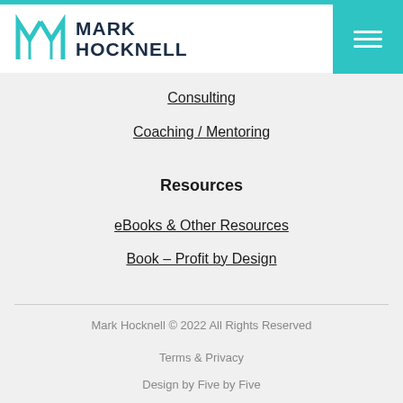Mark Hocknell
Consulting
Coaching / Mentoring
Resources
eBooks & Other Resources
Book – Profit by Design
Mark Hocknell © 2022 All Rights Reserved
Terms & Privacy
Design by Five by Five